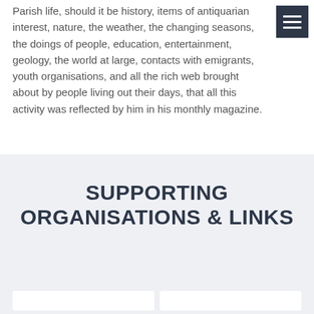Parish life, should it be history, items of antiquarian interest, nature, the weather, the changing seasons, the doings of people, education, entertainment, geology, the world at large, contacts with emigrants, youth organisations, and all the rich web brought about by people living out their days, that all this activity was reflected by him in his monthly magazine.
SUPPORTING ORGANISATIONS & LINKS